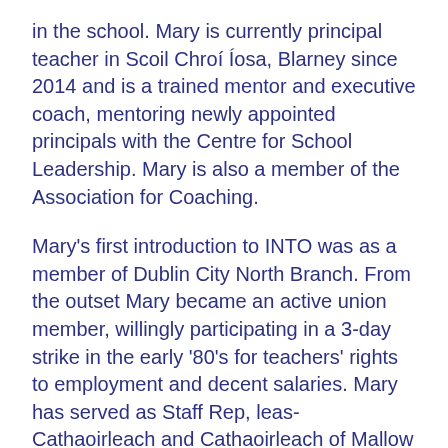in the school. Mary is currently principal teacher in Scoil Chroí Íosa, Blarney since 2014 and is a trained mentor and executive coach, mentoring newly appointed principals with the Centre for School Leadership. Mary is also a member of the Association for Coaching.
Mary's first introduction to INTO was as a member of Dublin City North Branch. From the outset Mary became an active union member, willingly participating in a 3-day strike in the early '80's for teachers' rights to employment and decent salaries. Mary has served as Staff Rep, leas-Cathaoirleach and Cathaoirleach of Mallow Branch and as Secretary of District 16. During her time on the INTO executive, Mary has been involved in several INTO committees including the Learning Committee, Trade Union Training, the Principals' Forum Review Committee, Pay Equality Project Team and is currently Cathaoirleach of the Task Force on Participation. She also represents INTO on the Early